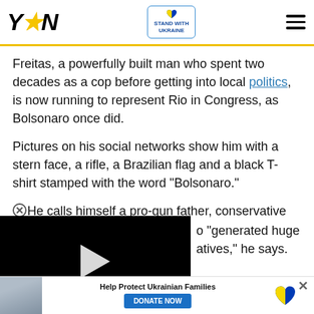YEN — Stand With Ukraine header
Freitas, a powerfully built man who spent two decades as a cop before getting into local politics, is now running to represent Rio in Congress, as Bolsonaro once did.
Pictures on his social networks show him with a stern face, a rifle, a Brazilian flag and a black T-shirt stamped with the word "Bolsonaro."
He calls himself a pro-gun father, conservative and "terror of [criminals]" who "generated huge [negatives,]" he says.
[Figure (screenshot): Black video player with white play triangle button]
...going on for 30 years don't...
[Figure (infographic): Help Protect Ukrainian Families donation ad bar with photo, DONATE NOW button, and Ukraine heart icon]